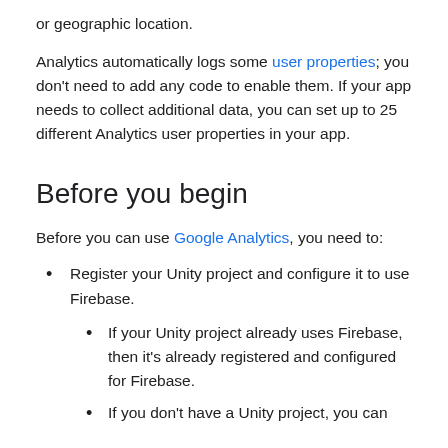or geographic location.
Analytics automatically logs some user properties; you don't need to add any code to enable them. If your app needs to collect additional data, you can set up to 25 different Analytics user properties in your app.
Before you begin
Before you can use Google Analytics, you need to:
Register your Unity project and configure it to use Firebase.
If your Unity project already uses Firebase, then it's already registered and configured for Firebase.
If you don't have a Unity project, you can